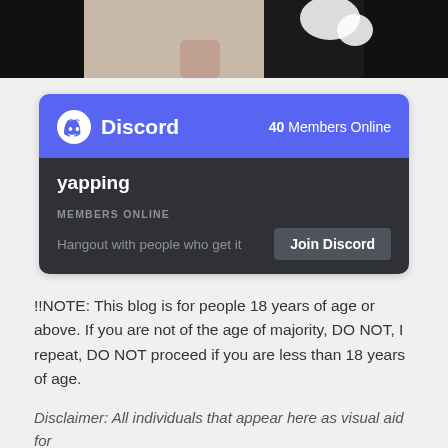[Figure (photo): Partial photo of a person, cropped at top of page, dark background with white shape visible]
[Figure (screenshot): Discord server widget card showing 40 Members Online, server name 'yapping', MEMBERS ONLINE label, partial description text 'Hangout with people who get it', and a 'Join Discord' button]
!!NOTE: This blog is for people 18 years of age or above. If you are not of the age of majority, DO NOT, I repeat, DO NOT proceed if you are less than 18 years of age.
Disclaimer: All individuals that appear here as visual aid for